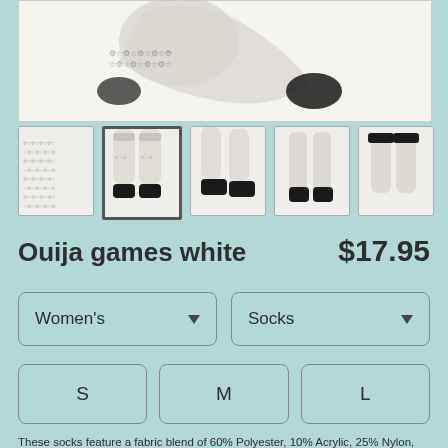[Figure (photo): Main product photo showing Ouija games white socks with black heel/toe, displayed on feet against white background]
[Figure (photo): Thumbnail 1: flat lay pattern view of socks]
[Figure (photo): Thumbnail 2 (selected): side view of socks on feet with black sole]
[Figure (photo): Thumbnail 3: front view of socks on feet]
[Figure (photo): Thumbnail 4: folded pair of socks]
[Figure (photo): Thumbnail 5: hanging pair of socks]
Ouija games white
$17.95
Women's
Socks
S
M
L
These socks feature a fabric blend of 60% Polyester, 10% Acrylic, 25% Nylon, and 5% Spandex making them stretchy, soft and incredibly comfortable. Featuring a cushioned bottom and signature